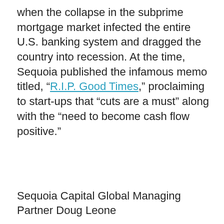when the collapse in the subprime mortgage market infected the entire U.S. banking system and dragged the country into recession. At the time, Sequoia published the infamous memo titled, “R.I.P. Good Times,” proclaiming to start-ups that “cuts are a must” along with the “need to become cash flow positive.”
Sequoia Capital Global Managing Partner Doug Leone